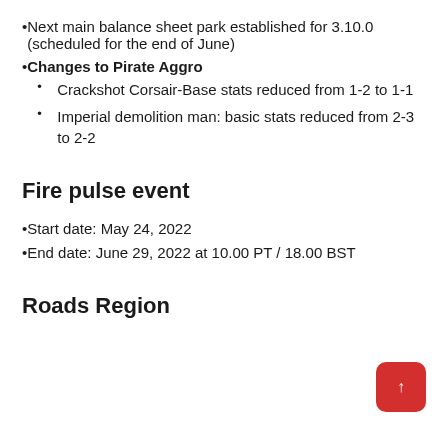Next main balance sheet park established for 3.10.0 (scheduled for the end of June)
Changes to Pirate Aggro
Crackshot Corsair-Base stats reduced from 1-2 to 1-1
Imperial demolition man: basic stats reduced from 2-3 to 2-2
Fire pulse event
Start date: May 24, 2022
End date: June 29, 2022 at 10.00 PT / 18.00 BST
Roads Region